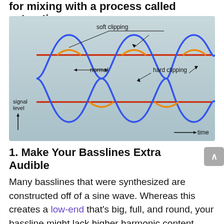for mixing with a process called saturation.
[Figure (engineering-diagram): Diagram showing signal waveforms illustrating soft clipping, normal signal level, and hard clipping. A blue sine wave is shown with orange soft-clipped peaks and flat red hard-clipped regions. Labels point to 'soft clipping' at the peaks, 'normal' between two peaks, and 'hard clipping' at a red-flattened region. 'signal level' with an upward arrow is labeled on the left. '→ time' label appears at bottom right.]
1. Make Your Basslines Extra Audible
Many basslines that were synthesized are constructed off of a sine wave. Whereas this creates a low-end that's big, full, and round, your bassline might lack higher harmonic content material